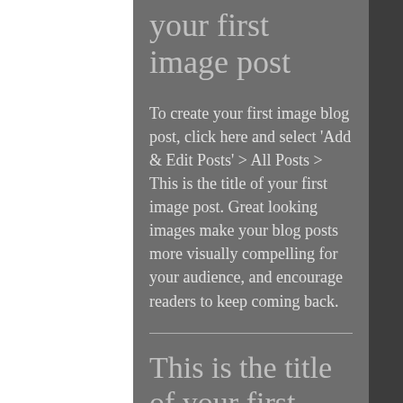your first image post
To create your first image blog post, click here and select 'Add & Edit Posts' > All Posts > This is the title of your first image post. Great looking images make your blog posts more visually compelling for your audience, and encourage readers to keep coming back.
This is the title of your first video